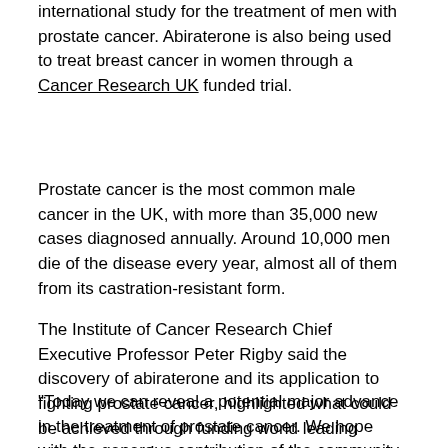international study for the treatment of men with prostate cancer. Abiraterone is also being used to treat breast cancer in women through a Cancer Research UK funded trial.
Prostate cancer is the most common male cancer in the UK, with more than 35,000 new cases diagnosed annually. Around 10,000 men die of the disease every year, almost all of them from its castration-resistant form.
The Institute of Cancer Research Chief Executive Professor Peter Rigby said the discovery of abiraterone and its application to fighting prostate cancer, highlighted what could be achieved through funding world leading cancer research.
"Today we can reveal a potential major advance in the treatment of prostate cancer. We hope with the generous contribution of the community we can continue to develop